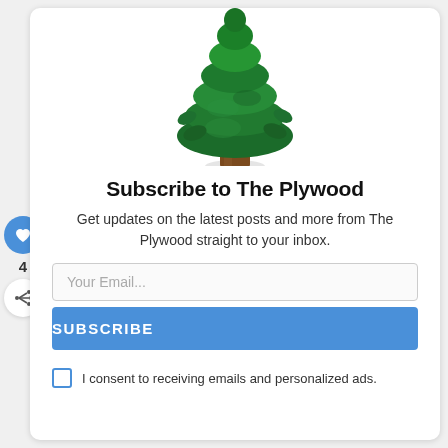[Figure (illustration): A 3D rendered evergreen/pine tree with dark green layered foliage and a brown trunk, cropped to show the top and middle portions of the tree.]
Subscribe to The Plywood
Get updates on the latest posts and more from The Plywood straight to your inbox.
Your Email...
SUBSCRIBE
I consent to receiving emails and personalized ads.